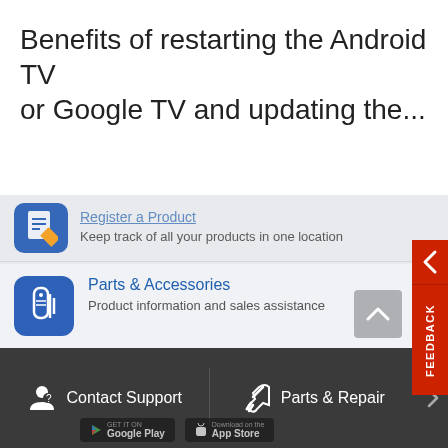Benefits of restarting the Android TV or Google TV and updating the...
Register a Product — Keep track of all your products in one location
Parts & Accessories — Product information and sales assistance
Community — A place where you can find solutions and ask questions
Support by Sony (Mobile App) — Get Support Content on the Go!
Contact Support | Parts & Repair